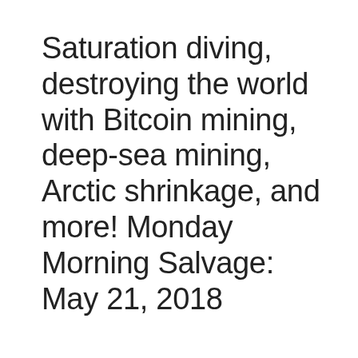Saturation diving, destroying the world with Bitcoin mining, deep-sea mining, Arctic shrinkage, and more! Monday Morning Salvage: May 21, 2018